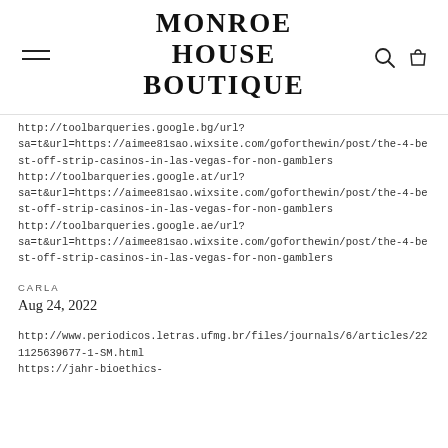MONROE HOUSE BOUTIQUE
http://toolbarqueries.google.bg/url?sa=t&url=https://aimee81sao.wixsite.com/goforthewin/post/the-4-best-off-strip-casinos-in-las-vegas-for-non-gamblers
http://toolbarqueries.google.at/url?sa=t&url=https://aimee81sao.wixsite.com/goforthewin/post/the-4-best-off-strip-casinos-in-las-vegas-for-non-gamblers
http://toolbarqueries.google.ae/url?sa=t&url=https://aimee81sao.wixsite.com/goforthewin/post/the-4-best-off-strip-casinos-in-las-vegas-for-non-gamblers
CARLA
Aug 24, 2022
http://www.periodicos.letras.ufmg.br/files/journals/6/articles/22
1125639677-1-SM.html
https://jahr-bioethics-